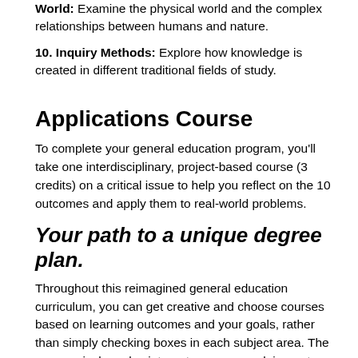World: Examine the physical world and the complex relationships between humans and nature.
10. Inquiry Methods: Explore how knowledge is created in different traditional fields of study.
Applications Course
To complete your general education program, you'll take one interdisciplinary, project-based course (3 credits) on a critical issue to help you reflect on the 10 outcomes and apply them to real-world problems.
Your path to a unique degree plan.
Throughout this reimagined general education curriculum, you can get creative and choose courses based on learning outcomes and your goals, rather than simply checking boxes in each subject area. The new curriculum also integrates coursework in our two